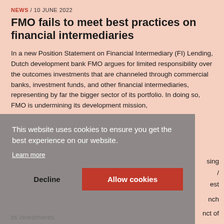NEWS / 10 JUNE 2022
FMO fails to meet best practices on financial intermediaries
In a new Position Statement on Financial Intermediary (FI) Lending, Dutch development bank FMO argues for limited responsibility over the outcomes investments that are channeled through commercial banks, investment funds, and other financial intermediaries, representing by far the bigger sector of its portfolio. In doing so, FMO is undermining its development mission, [partially obscured by cookie banner] ...sing .../ ...est ...nch ...nct of its investments.
This website uses cookies to ensure you get the best experience on our website.
Learn more
Decline
Allow cookies